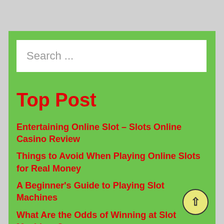Search ...
Top Post
Entertaining Online Slot – Slots Online Casino Review
Things to Avoid When Playing Online Slots for Real Money
A Beginner's Guide to Playing Slot Machines
What Are the Odds of Winning at Slot Machines?